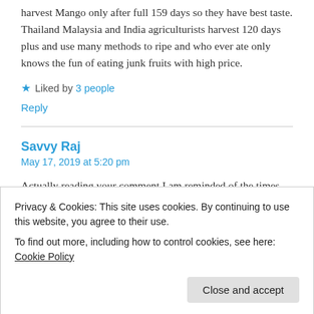harvest Mango only after full 159 days so they have best taste. Thailand Malaysia and India agriculturists harvest 120 days plus and use many methods to ripe and who ever ate only knows the fun of eating junk fruits with high price.
★ Liked by 3 people
Reply
Savvy Raj
May 17, 2019 at 5:20 pm
Actually reading your comment I am reminded of the times when I was a kid I have had my fill of the sweetest organic mangoes, picked directly from the mango farms that my
Privacy & Cookies: This site uses cookies. By continuing to use this website, you agree to their use.
To find out more, including how to control cookies, see here: Cookie Policy
Close and accept